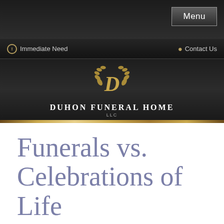Menu
Immediate Need   Contact Us
[Figure (logo): Duhon Funeral Home LLC logo with gold D emblem and laurel wreath, text DUHON FUNERAL HOME LLC]
Funerals vs. Celebrations of Life
It's interesting; funerals and celebrations-of-life have much in common, yet they often appear very different. Each is a ceremony; a gathering of people who share a common loss. It's just that one is more